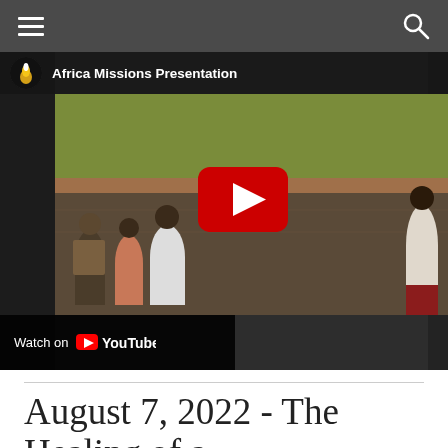[Figure (screenshot): Website navigation bar with hamburger menu icon on the left and search icon on the right, dark gray background]
[Figure (screenshot): YouTube video embed showing Africa Missions Presentation. The video thumbnail shows a baptism scene in a river with people standing in water. A large red YouTube play button is centered on the inner video frame. A 'Watch on YouTube' bar appears at the bottom left.]
August 7, 2022 - The Healing of a